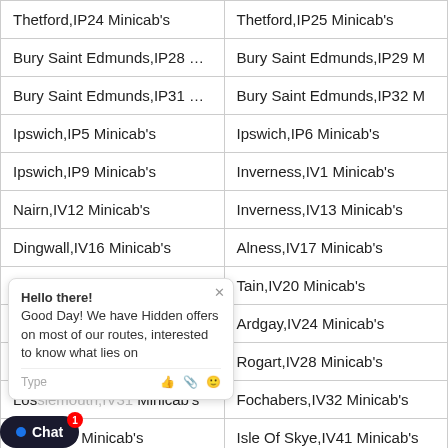| Thetford,IP24 Minicab's | Thetford,IP25 Minicab's |
| Bury Saint Edmunds,IP28 Minicab's | Bury Saint Edmunds,IP29 M |
| Bury Saint Edmunds,IP31 Minicab's | Bury Saint Edmunds,IP32 M |
| Ipswich,IP5 Minicab's | Ipswich,IP6 Minicab's |
| Ipswich,IP9 Minicab's | Inverness,IV1 Minicab's |
| Nairn,IV12 Minicab's | Inverness,IV13 Minicab's |
| Dingwall,IV16 Minicab's | Alness,IV17 Minicab's |
| Inverness,IV2 Minicab's | Tain,IV20 Minicab's |
| Ga... [chat overlay] ...b's | Ardgay,IV24 Minicab's |
| Lai... [chat overlay] ...s | Rogart,IV28 Minicab's |
| Los... [chat overlay] ...Minicab's | Fochabers,IV32 Minicab's |
| Kyle,IV40 Minicab's | Isle Of Skye,IV41 Minicab's |
| Isle Of Skye,IV44 Minicab's | Isle Of Skye,IV45 Minicab's |